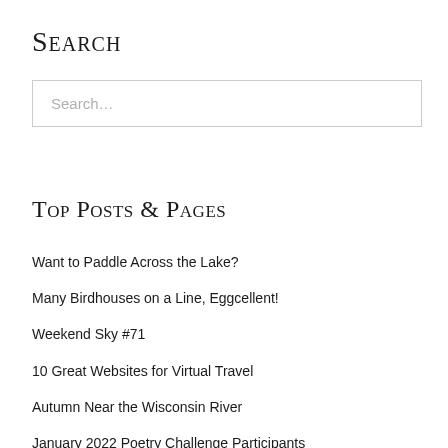Search
Search…
Top Posts & Pages
Want to Paddle Across the Lake?
Many Birdhouses on a Line, Eggcellent!
Weekend Sky #71
10 Great Websites for Virtual Travel
Autumn Near the Wisconsin River
January 2022 Poetry Challenge Participants
Latina Superstar Linda Ronstadt